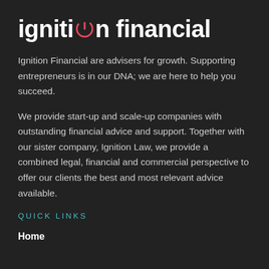ignition financial
Ignition Financial are advisers for growth. Supporting entrepreneurs is in our DNA; we are here to help you succeed.
We provide start-up and scale-up companies with outstanding financial advice and support. Together with our sister company, Ignition Law, we provide a combined legal, financial and commercial perspective to offer our clients the best and most relevant advice available.
QUICK LINKS
Home